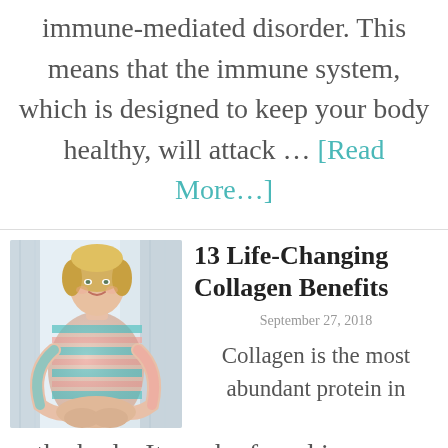immune-mediated disorder. This means that the immune system, which is designed to keep your body healthy, will attack … [Read More…]
13 Life-Changing Collagen Benefits
September 27, 2018
[Figure (photo): A smiling middle-aged blonde woman in a teal and pink striped cardigan, sitting and hugging her knees, against a light curtained background]
Collagen is the most abundant protein in the body. It can be found in many